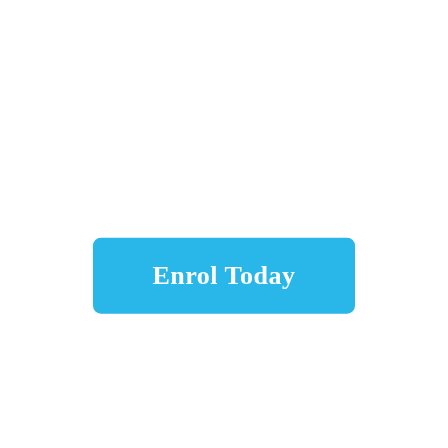[Figure (other): A sky-blue rounded rectangle button with white bold text reading 'Enrol Today', centered in the lower-middle portion of an otherwise blank white page.]